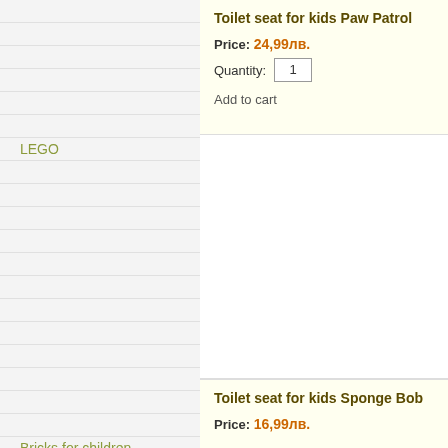LEGO
Bricks for children
Puzzles for children
Toilet seat for kids Paw Patrol
Price: 24,99лв.
Quantity: 1
Add to cart
Toilet seat for kids Sponge Bob
Price: 16,99лв.